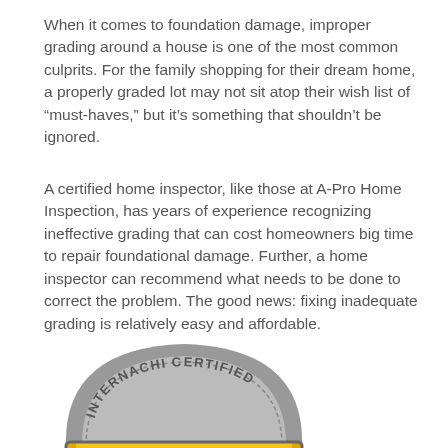When it comes to foundation damage, improper grading around a house is one of the most common culprits. For the family shopping for their dream home, a properly graded lot may not sit atop their wish list of “must-haves,” but it’s something that shouldn’t be ignored.
A certified home inspector, like those at A-Pro Home Inspection, has years of experience recognizing ineffective grading that can cost homeowners big time to repair foundational damage. Further, a home inspector can recommend what needs to be done to correct the problem. The good news: fixing inadequate grading is relatively easy and affordable.
[Figure (logo): InterNACHI Certified badge showing 'STRUCTURE & FOUNDATION' text in yellow and gray shield/badge design]